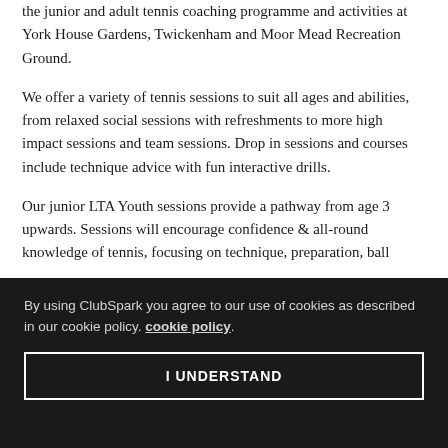the junior and adult tennis coaching programme and activities at York House Gardens, Twickenham and Moor Mead Recreation Ground.
We offer a variety of tennis sessions to suit all ages and abilities, from relaxed social sessions with refreshments to more high impact sessions and team sessions. Drop in sessions and courses include technique advice with fun interactive drills.
Our junior LTA Youth sessions provide a pathway from age 3 upwards. Sessions will encourage confidence & all-round knowledge of tennis, focusing on technique, preparation, ball
By using ClubSpark you agree to our use of cookies as described in our cookie policy. cookie policy.
I UNDERSTAND